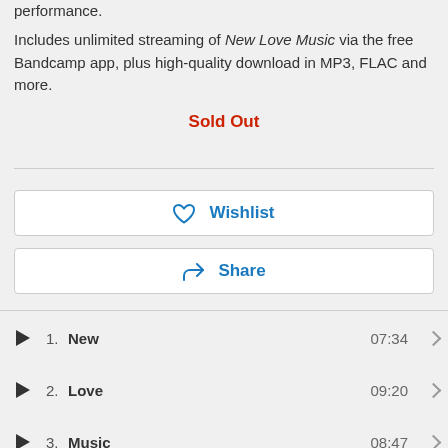performance.
Includes unlimited streaming of New Love Music via the free Bandcamp app, plus high-quality download in MP3, FLAC and more.
Sold Out
♡ Wishlist
↗ Share
1. New 07:34
2. Love 09:20
3. Music 08:47
4. New Love Music (Continuous Mix) 25:41